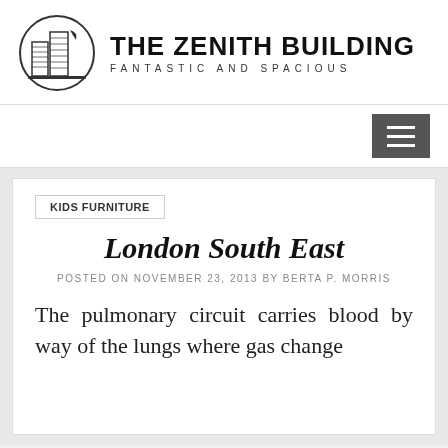[Figure (logo): The Zenith Building logo: circular icon with illustrated skyscrapers and a crescent moon, next to bold text THE ZENITH BUILDING with subtitle FANTASTIC AND SPACIOUS]
[Figure (other): Hamburger menu button (three horizontal lines) on dark gray background]
KIDS FURNITURE
London South East
POSTED ON NOVEMBER 23, 2013 BY BERTA P. MORRIS
The pulmonary circuit carries blood by way of the lungs where gas change